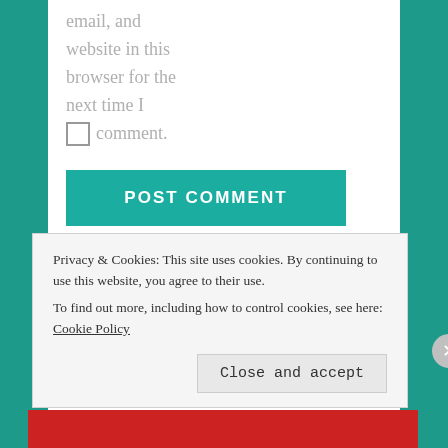email, and website in this browser for the next time I
comment.
POST COMMENT
Notify me of new comments via email.
Notify me of new posts via email.
Privacy & Cookies: This site uses cookies. By continuing to use this website, you agree to their use. To find out more, including how to control cookies, see here: Cookie Policy
Close and accept